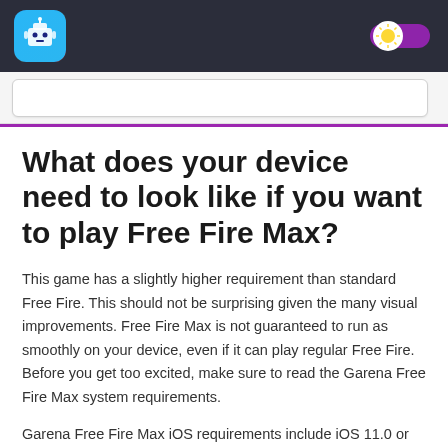[App header with logo and theme toggle]
What does your device need to look like if you want to play Free Fire Max?
This game has a slightly higher requirement than standard Free Fire. This should not be surprising given the many visual improvements. Free Fire Max is not guaranteed to run as smoothly on your device, even if it can play regular Free Fire. Before you get too excited, make sure to read the Garena Free Fire Max system requirements.
Garena Free Fire Max iOS requirements include iOS 11.0 or